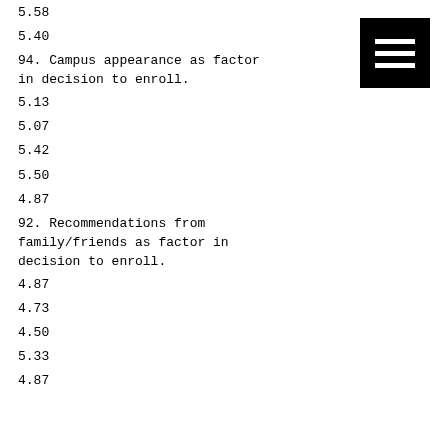5.58
5.40
94. Campus appearance as factor in decision to enroll.
5.13
5.07
5.42
5.50
4.87
92. Recommendations from family/friends as factor in decision to enroll.
4.87
4.73
4.50
5.33
4.87